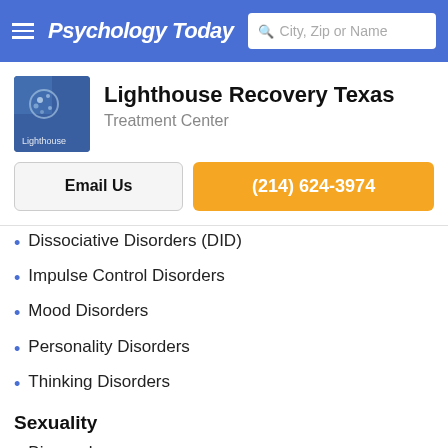Psychology Today — City, Zip or Name search bar
Lighthouse Recovery Texas
Treatment Center
Email Us
(214) 624-3974
Dissociative Disorders (DID)
Impulse Control Disorders
Mood Disorders
Personality Disorders
Thinking Disorders
Sexuality
Bisexual
LGBTQ+
Client Focus